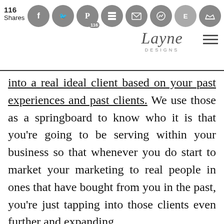116 Shares — social share bar with icons for Facebook, Twitter, Pinterest (116), Buffer, Email, Messenger, and Crown; logo: Layne Designs; hamburger menu
into a real ideal client based on your past experiences and past clients. We use those as a springboard to know who it is that you’re going to be serving within your business so that whenever you do start to market your marketing to real people in ones that have bought from you in the past, you’re just tapping into those clients even further and expanding